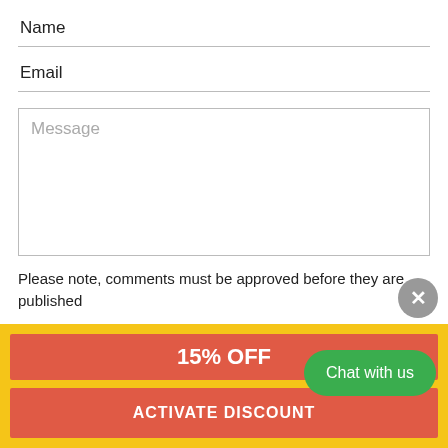Name
Email
Message
Please note, comments must be approved before they are published
Post comment
[Figure (screenshot): Close (X) button, grey circle]
15% OFF
ACTIVATE DISCOUNT
Chat with us